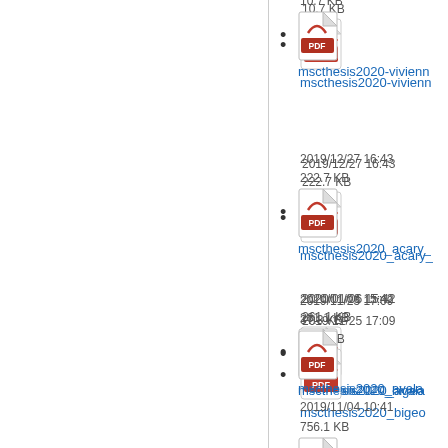10.7 KB
mscthesis2020-vivienn
2019/12/27 16:43
222.7 KB
mscthesis2020_acary_
2020/01/06 15:42
261.1 KB
mscthesis2020_avala
2019/11/25 17:09
37.3 KB
mscthesis2020_bigeo
2019/11/04 10:41
756.1 KB